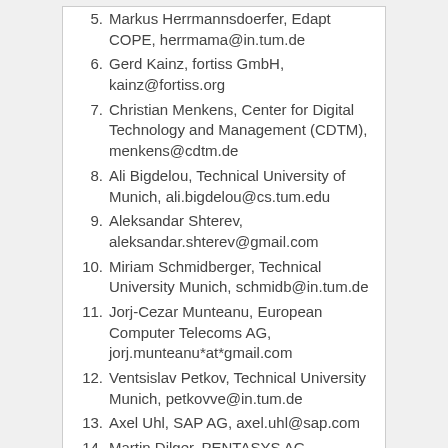5. Markus Herrmannsdoerfer, Edapt COPE, herrmama@in.tum.de
6. Gerd Kainz, fortiss GmbH, kainz@fortiss.org
7. Christian Menkens, Center for Digital Technology and Management (CDTM), menkens@cdtm.de
8. Ali Bigdelou, Technical University of Munich, ali.bigdelou@cs.tum.edu
9. Aleksandar Shterev, aleksandar.shterev@gmail.com
10. Miriam Schmidberger, Technical University Munich, schmidb@in.tum.de
11. Jorj-Cezar Munteanu, European Computer Telecoms AG, jorj.munteanu*at*gmail.com
12. Ventsislav Petkov, Technical University Munich, petkovve@in.tum.de
13. Axel Uhl, SAP AG, axel.uhl@sap.com
14. Martin Dilger, PENTASYS AG, martin.dilger*at*pentasys.de
15. Yang Li, Technical University Munich, liya@in.tum.de
16. Mykhaylo Rubezhansky, PENTASYS AG
17. Ronald Hoetschl, PENTASYS AG